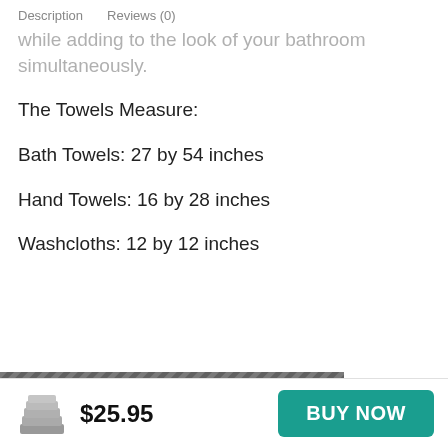Description   Reviews (0)
while adding to the look of your bathroom simultaneously.
The Towels Measure:
Bath Towels: 27 by 54 inches
Hand Towels: 16 by 28 inches
Washcloths: 12 by 12 inches
[Figure (photo): Partial view of a towel product image strip at bottom of content area]
$25.95
BUY NOW